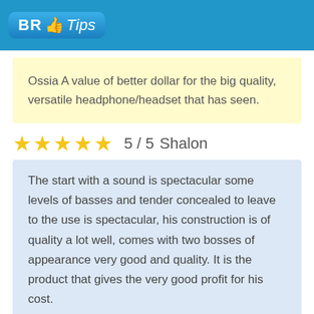BR Tips
Ossia A value of better dollar for the big quality, versatile headphone/headset that has seen.
5 / 5   Shalon
The start with a sound is spectacular some levels of basses and tender concealed to leave to the use is spectacular, his construction is of quality a lot well, comes with two bosses of appearance very good and quality. It is the product that gives the very good profit for his cost.